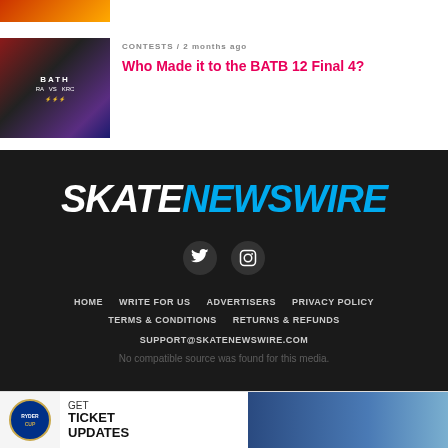[Figure (photo): Partial thumbnail image at top left, cropped]
[Figure (photo): BATB 12 contest thumbnail showing two skaters versus screen]
CONTESTS / 2 months ago
Who Made it to the BATB 12 Final 4?
[Figure (logo): SkateNewsWire logo in white and blue italic bold text on dark background]
[Figure (other): Twitter social media icon circle button]
[Figure (other): Instagram social media icon circle button]
HOME   WRITE FOR US   ADVERTISERS   PRIVACY POLICY
TERMS & CONDITIONS   RETURNS & REFUNDS
SUPPORT@SKATENEWSWIRE.COM
No compatible source was found for this media.
[Figure (photo): Ryder Cup advertisement banner with GET TICKET UPDATES text and sports photo]